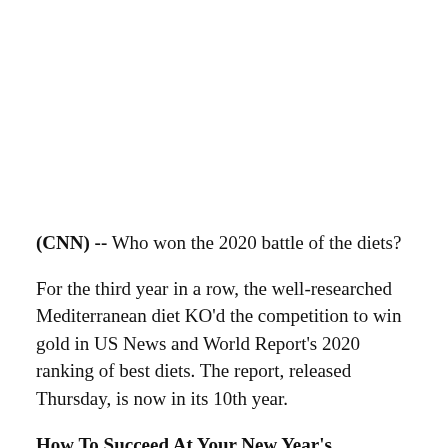(CNN) -- Who won the 2020 battle of the diets?
For the third year in a row, the well-researched Mediterranean diet KO'd the competition to win gold in US News and World Report's 2020 ranking of best diets. The report, released Thursday, is now in its 10th year.
How To Succeed At Your New Year's Resolutions This